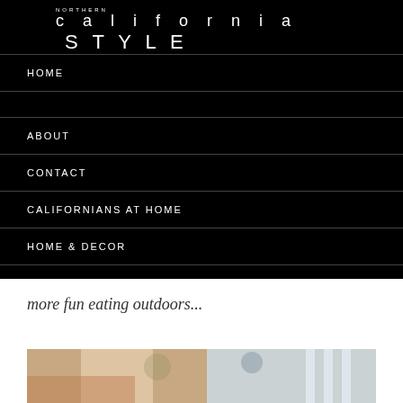NORTHERN california STYLE
HOME
ABOUT
CONTACT
CALIFORNIANS AT HOME
HOME & DECOR
MY CALIFORNIA CLOSET
more fun eating outdoors...
[Figure (photo): Outdoor dining area photo, partially visible, showing warm tones with plants and window frames]